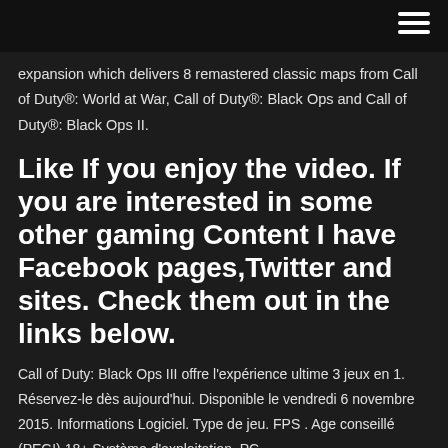[hamburger menu icon]
expansion which delivers 8 remastered classic maps from Call of Duty®: World at War, Call of Duty®: Black Ops and Call of Duty®: Black Ops II.
Like If you enjoy the video. If you are interested in some other gaming Content I have Facebook pages,Twitter and sites. Check them out in the links below.
Call of Duty: Black Ops III offre l'expérience ultime 3 jeux en 1. Réservez-le dès aujourd'hui. Disponible le vendredi 6 novembre 2015. Informations Logiciel. Type de jeu. FPS . Age conseillé (PEGI) 18+ Système d'exploitation. PC .